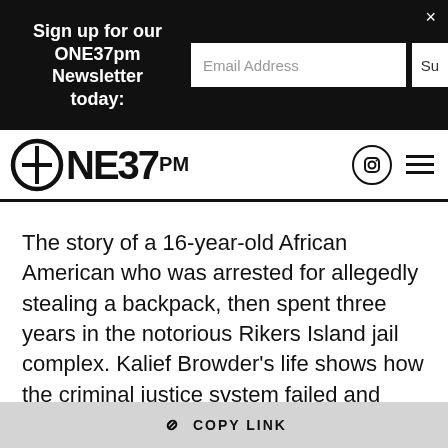Sign up for our ONE37pm Newsletter today:
[Figure (logo): ONE37PM logo with circle icon, Instagram icon, and hamburger menu icon]
The story of a 16-year-old African American who was arrested for allegedly stealing a backpack, then spent three years in the notorious Rikers Island jail complex. Kalief Browder’s life shows how the criminal justice system failed and robbed a young man of his youth, with two of the three years in jail spent in solitary confinement as he awaited trial. Though charges were eventually dropped, he committed suicide after his release as a result of the trauma and negative experiences from his time
COPY LINK